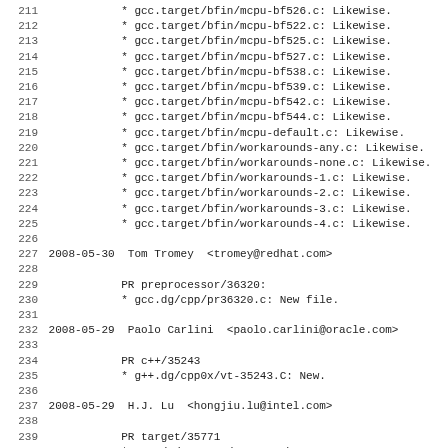211		 * gcc.target/bfin/mcpu-bf526.c: Likewise.
212		 * gcc.target/bfin/mcpu-bf522.c: Likewise.
213		 * gcc.target/bfin/mcpu-bf525.c: Likewise.
214		 * gcc.target/bfin/mcpu-bf527.c: Likewise.
215		 * gcc.target/bfin/mcpu-bf538.c: Likewise.
216		 * gcc.target/bfin/mcpu-bf539.c: Likewise.
217		 * gcc.target/bfin/mcpu-bf542.c: Likewise.
218		 * gcc.target/bfin/mcpu-bf544.c: Likewise.
219		 * gcc.target/bfin/mcpu-default.c: Likewise.
220		 * gcc.target/bfin/workarounds-any.c: Likewise.
221		 * gcc.target/bfin/workarounds-none.c: Likewise.
222		 * gcc.target/bfin/workarounds-1.c: Likewise.
223		 * gcc.target/bfin/workarounds-2.c: Likewise.
224		 * gcc.target/bfin/workarounds-3.c: Likewise.
225		 * gcc.target/bfin/workarounds-4.c: Likewise.
226
227 2008-05-30  Tom Tromey  <tromey@redhat.com>
228
229		PR preprocessor/36320:
230		 * gcc.dg/cpp/pr36320.c: New file.
231
232 2008-05-29  Paolo Carlini  <paolo.carlini@oracle.com>
233
234		PR c++/35243
235		 * g++.dg/cpp0x/vt-35243.C: New.
236
237 2008-05-29  H.J. Lu  <hongjiu.lu@intel.com>
238
239		PR target/35771
240		 * gcc.dg/torture/pr35771.h: New.
241		 * gcc.dg/torture/pr35771-1.c: Likewise.
242		 * gcc.dg/torture/pr35771-2.c: Likewise.